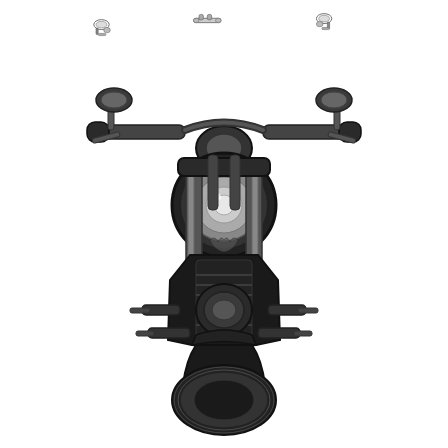[Figure (illustration): Monochrome black and white illustration of a classic/cruiser motorcycle viewed from the front. At the top are three small partial detail sketches of motorcycle parts (mirrors/handlebars). The main large image shows the front view of a vintage chopper/cruiser motorcycle with wide handlebars, round headlight, fork tubes, engine block, and front wheel, rendered in detailed grayscale shading on a white background.]